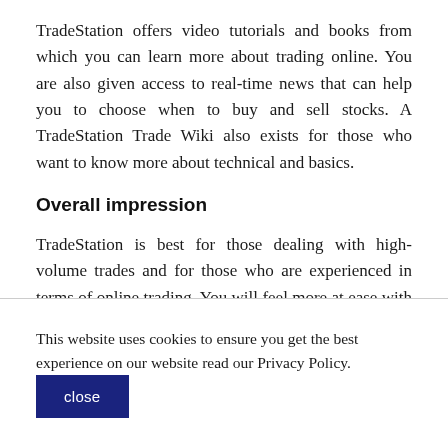TradeStation offers video tutorials and books from which you can learn more about trading online. You are also given access to real-time news that can help you to choose when to buy and sell stocks. A TradeStation Trade Wiki also exists for those who want to know more about technical and basics.
Overall impression
TradeStation is best for those dealing with high-volume trades and for those who are experienced in terms of online trading. You will feel more at ease with its
This website uses cookies to ensure you get the best experience on our website read our Privacy Policy.